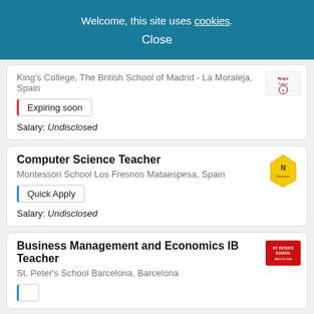Welcome, this site uses cookies. Close
King's College, The British School of Madrid - La Moraleja, Spain
Expiring soon
Salary: Undisclosed
Computer Science Teacher
Montessori School Los Fresnos Mataespesa, Spain
Quick Apply
Salary: Undisclosed
Business Management and Economics IB Teacher
St. Peter's School Barcelona, Barcelona